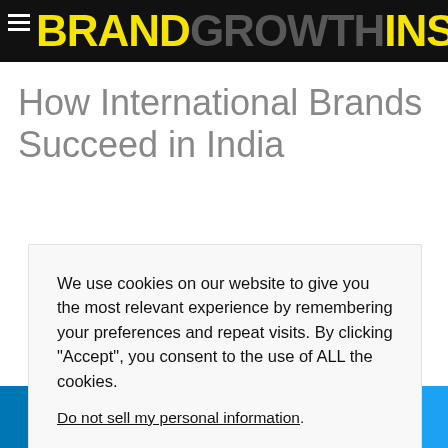BRAND GROWTH INSPIRATION
How International Brands Succeed in India
We use cookies on our website to give you the most relevant experience by remembering your preferences and repeat visits. By clicking “Accept”, you consent to the use of ALL the cookies.

Do not sell my personal information.
LinkedIn | Email | WhatsApp | Twitter